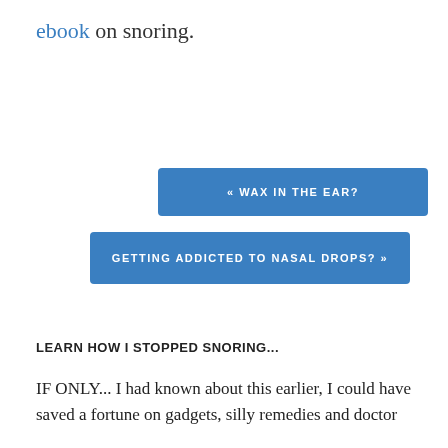ebook on snoring.
« WAX IN THE EAR?
GETTING ADDICTED TO NASAL DROPS? »
LEARN HOW I STOPPED SNORING...
IF ONLY... I had known about this earlier, I could have saved a fortune on gadgets, silly remedies and doctor